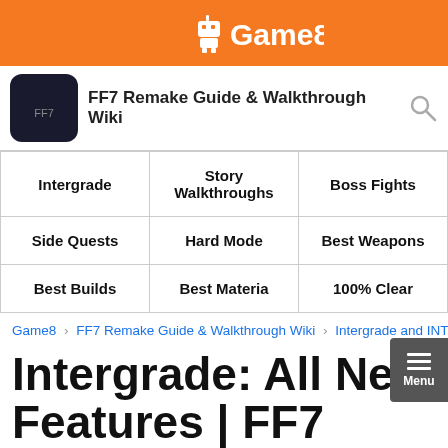Game8
FF7 Remake Guide & Walkthrough Wiki
| Intergrade | Story Walkthroughs | Boss Fights |
| Side Quests | Hard Mode | Best Weapons |
| Best Builds | Best Materia | 100% Clear |
Game8 · FF7 Remake Guide & Walkthrough Wiki · Intergrade and INTERN…
Intergrade: All New Features | FF7 Remake